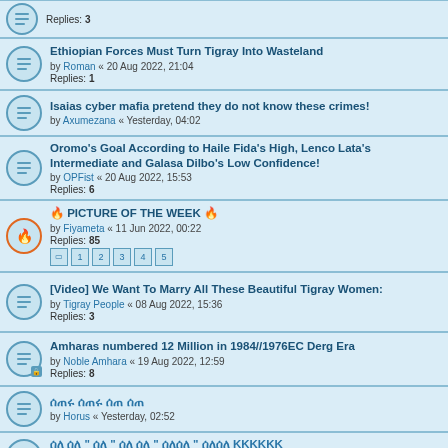Replies: 3
Ethiopian Forces Must Turn Tigray Into Wasteland — by Roman « 20 Aug 2022, 21:04 — Replies: 1
Isaias cyber mafia pretend they do not know these crimes! — by Axumezana « Yesterday, 04:02
Oromo's Goal According to Haile Fida's High, Lenco Lata's Intermediate and Galasa Dilbo's Low Confidence! — by OPFist « 20 Aug 2022, 15:53 — Replies: 6
🔥 PICTURE OF THE WEEK 🔥 — by Fiyameta « 11 Jun 2022, 00:22 — Replies: 85 — pages 1 2 3 4 5
[Video] We Want To Marry All These Beautiful Tigray Women: — by Tigray People « 08 Aug 2022, 15:36 — Replies: 3
Amharas numbered 12 Million in 1984//1976EC Derg Era — by Noble Amhara « 19 Aug 2022, 12:59 — Replies: 8
ሰጠሩ ሰጠሩ ሰጠ ሰጠ — by Horus « Yesterday, 02:52
ሰለ ሰለ " ሰለ " ሰለ ሰለ " ሰለሰለ " ሰለሰለ KKKKKK — by Justice Seeker « Yesterday, 01:40 — Replies: 7
ሰለሰለ ሰለሰለ ሰለሰ ሰለሰ ሰለ ሰለ ሰለሰለ ሰለሰለሰ ሰለሰ! ሰለ ሰለሰ ሰለ!! — by Horus « 20 Aug 2022, 22:24